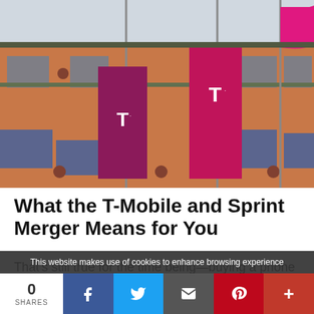[Figure (photo): Exterior of a brick building with T-Mobile branded flags in magenta/pink colors flying on flagpoles. The flags feature the T-Mobile logo (a T with a dot). Blue sky visible at the top.]
What the T-Mobile and Sprint Merger Means for You
That's still true for the time being—buying a phone from Sprint doesn't mean it will be able to work on T-Mobile's network just because
This website makes use of cookies to enhance browsing experience
0 SHARES